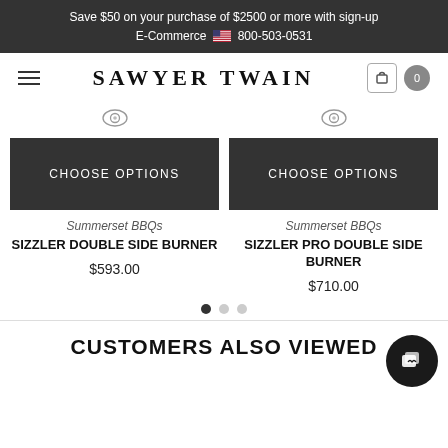Save $50 on your purchase of $2500 or more with sign-up E-Commerce 🇺🇸 800-503-0531
SAWYER TWAIN
[Figure (screenshot): Two product cards each with a dark 'CHOOSE OPTIONS' button and an eye icon above. Left card: Summerset BBQs, SIZZLER DOUBLE SIDE BURNER, $593.00. Right card: Summerset BBQs, SIZZLER PRO DOUBLE SIDE BURNER, $710.00.]
CUSTOMERS ALSO VIEWED